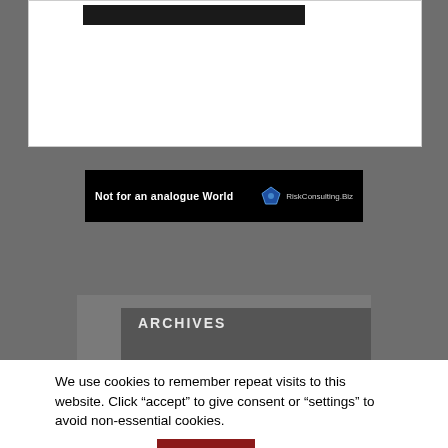[Figure (screenshot): Partial white content card with a black button/bar at the top, set against a grey background]
[Figure (other): Black advertisement banner reading 'Not for an analogue World' with a pentagon logo and 'RiskConsulting.Biz' text]
ARCHIVES
We use cookies to remember repeat visits to this website. Click “accept” to give consent or “settings” to avoid non-essential cookies.
Cookie settings
ACCEPT